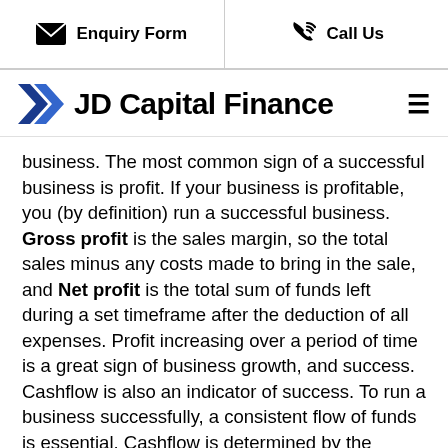Enquiry Form   Call Us
JD Capital Finance
business. The most common sign of a successful business is profit. If your business is profitable, you (by definition) run a successful business. Gross profit is the sales margin, so the total sales minus any costs made to bring in the sale, and Net profit is the total sum of funds left during a set timeframe after the deduction of all expenses. Profit increasing over a period of time is a great sign of business growth, and success. Cashflow is also an indicator of success. To run a business successfully, a consistent flow of funds is essential. Cashflow is determined by the amount of money coming into the business on a consistent basis, meaning your committed expenses are